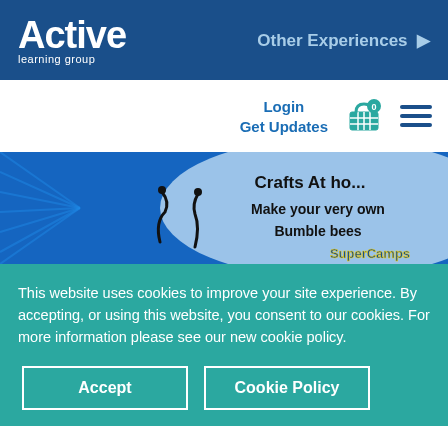Active learning group — Other Experiences
Login
Get Updates
[Figure (screenshot): Banner image showing crafts activity — 'Crafts At ho... Make your very own Bumble bees' with SuperCamps logo on blue background]
This website uses cookies to improve your site experience. By accepting, or using this website, you consent to our cookies. For more information please see our new cookie policy.
Accept
Cookie Policy